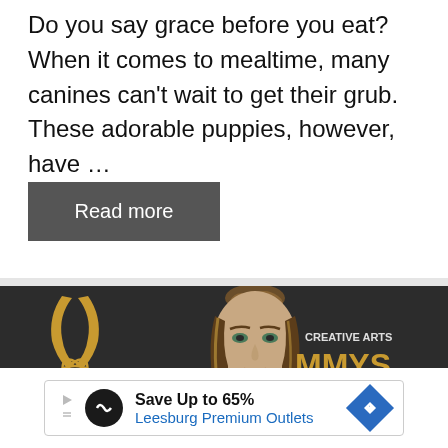Do you say grace before you eat? When it comes to mealtime, many canines can't wait to get their grub. These adorable puppies, however, have ...
Read more
[Figure (photo): Woman with braided updo hairstyle photographed in front of Creative Arts Emmys backdrop with golden Emmy statuette visible]
Save Up to 65% Leesburg Premium Outlets